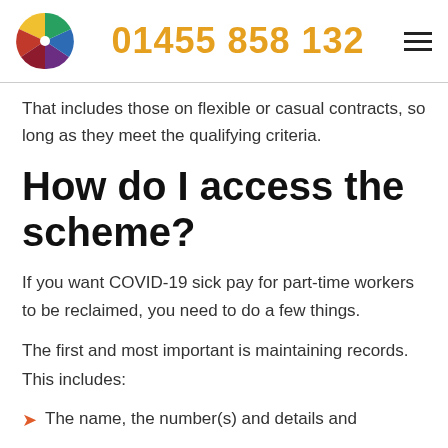01455 858 132
That includes those on flexible or casual contracts, so long as they meet the qualifying criteria.
How do I access the scheme?
If you want COVID-19 sick pay for part-time workers to be reclaimed, you need to do a few things.
The first and most important is maintaining records. This includes:
The name, the number(s) and details and...